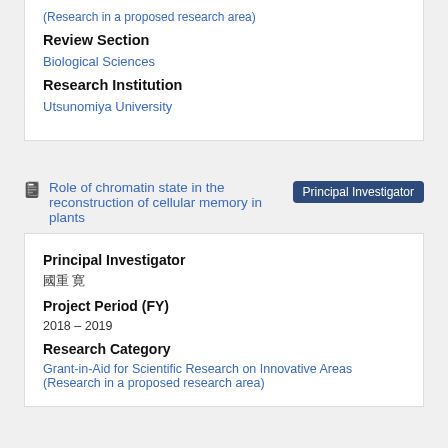Review Section
Biological Sciences
Research Institution
Utsunomiya University
Role of chromatin state in the reconstruction of cellular memory in plants  Principal Investigator
Principal Investigator
國重 寛
Project Period (FY)
2018 – 2019
Research Category
Grant-in-Aid for Scientific Research on Innovative Areas (Research in a proposed research area)